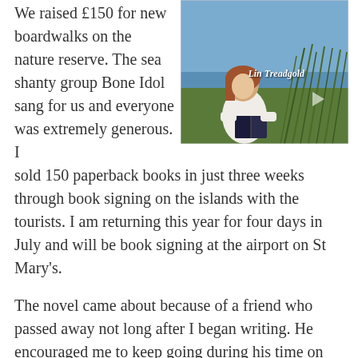We raised £150 for new boardwalks on the nature reserve. The sea shanty group Bone Idol sang for us and everyone was extremely generous. I sold 150 paperback books in just three weeks through book signing on the islands with the tourists. I am returning this year for four days in July and will be book signing at the airport on St Mary's.
[Figure (photo): A woman with reddish-brown hair sitting outdoors reading a book, with grass/dunes and sea in the background. Text overlay reads 'Lin Treadgold' in white italic script.]
The novel came about because of a friend who passed away not long after I began writing. He encouraged me to keep going during his time on the islands. In his memory, I wrote the book.
After a recent meeting with new author friends in York, I